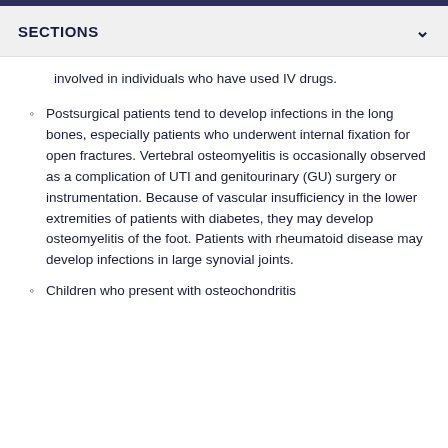SECTIONS
involved in individuals who have used IV drugs.
Postsurgical patients tend to develop infections in the long bones, especially patients who underwent internal fixation for open fractures. Vertebral osteomyelitis is occasionally observed as a complication of UTI and genitourinary (GU) surgery or instrumentation. Because of vascular insufficiency in the lower extremities of patients with diabetes, they may develop osteomyelitis of the foot. Patients with rheumatoid disease may develop infections in large synovial joints.
Children who present with osteochondritis